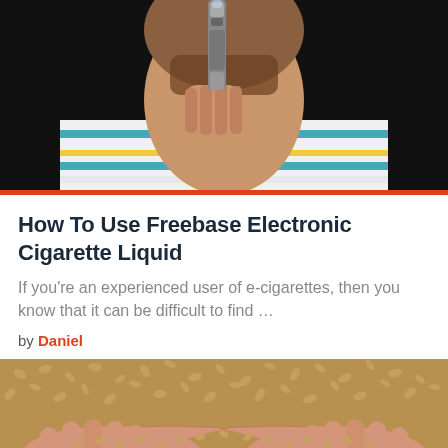[Figure (photo): Close-up of a man in a striped shirt using an electronic cigarette/vape device, dark background]
How To Use Freebase Electronic Cigarette Liquid
If you're an experienced user of e-cigarettes, then you know that it can be difficult to find …
by Daniel
[Figure (photo): Hands cupping a pile of hemp seeds or grain seeds, close-up view]